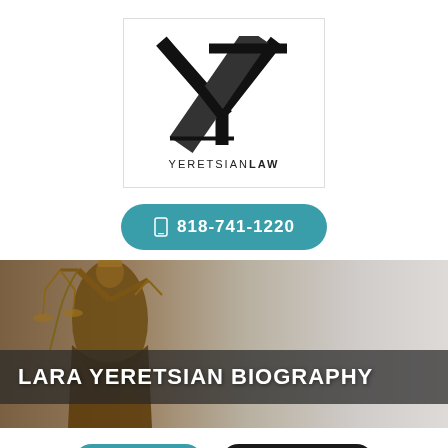[Figure (logo): Yeretsian Law logo: large stylized Y/L lettermark in black above text YERETSIANLAW, inside a white box with light border]
818-741-1220
[Figure (photo): Background photo of Lady Justice bronze statue holding scales, with blurred architectural background]
LARA YERETSIAN BIOGRAPHY
MENU
CONTACT